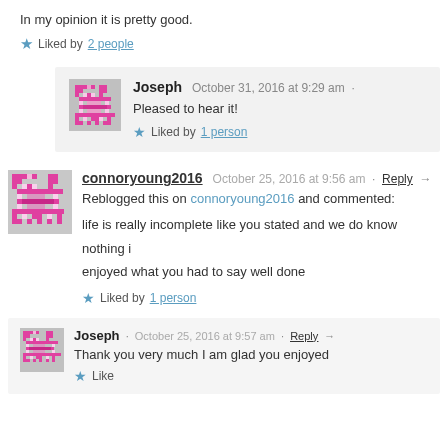In my opinion it is pretty good.
Liked by 2 people
Joseph  October 31, 2016 at 9:29 am
Pleased to hear it!
Liked by 1 person
connoryoung2016  October 25, 2016 at 9:56 am · Reply →
Reblogged this on connoryoung2016 and commented:
life is really incomplete like you stated and we do know nothing i enjoyed what you had to say well done
Liked by 1 person
Joseph  October 25, 2016 at 9:57 am · Reply →
Thank you very much I am glad you enjoyed
Like